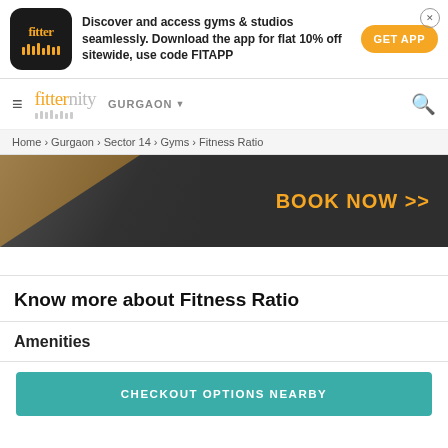[Figure (screenshot): Fitter app advertisement banner with logo, promotional text, GET APP button, and close button]
[Figure (screenshot): Fitternity navigation bar with hamburger menu, logo, GURGAON city selector, and search icon]
Home › Gurgaon › Sector 14 › Gyms › Fitness Ratio
[Figure (screenshot): Hero banner image of gym with BOOK NOW >> text in orange on dark background]
Know more about Fitness Ratio
Amenities
CHECKOUT OPTIONS NEARBY